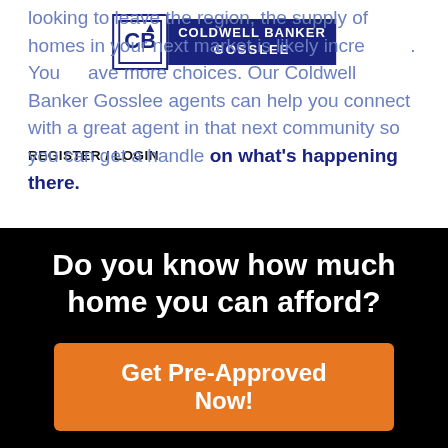COLDWELL BANKER GOSSLEE
REGISTER / LOGIN
looking to leave the region, the supply of homes in your next market is likely increasing. You'll have more choices. Our Coldwell Banker Gosslee agents can help you connect with a great agent in that next community so you can get a handle on what's happening there.

What I have just been talking about is a fact-based, in-the-moment discussion. But home buying and selling a home is also an emotional decision.
Do you know how much home you can afford?
Get Pre-Approved Now!